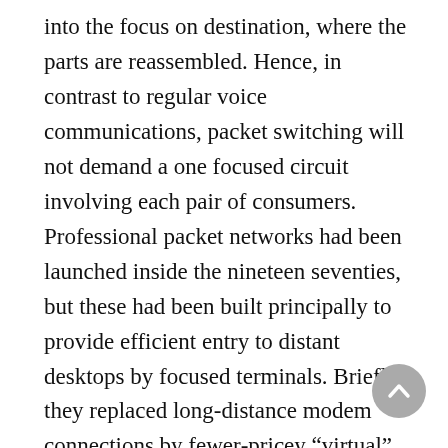into the focus on destination, where the parts are reassembled. Hence, in contrast to regular voice communications, packet switching will not demand a one focused circuit involving each pair of consumers. Professional packet networks had been launched inside the nineteen seventies, but these had been built principally to provide efficient entry to distant desktops by focused terminals. Briefly, they replaced long-distance modem connections by fewer-pricey “virtual” circuits more than packet networks. In The usa, Telenet and Tymnet had been two such packet networks. Neither supported host-to-host communications; inside the nineteen seve this was still the province of your investigate